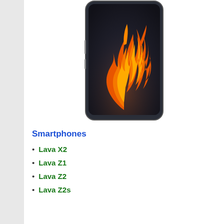[Figure (photo): Smartphone with a dark background displaying an orange flame/fire graphic on its screen]
Smartphones
Lava X2
Lava Z1
Lava Z2
Lava Z2s